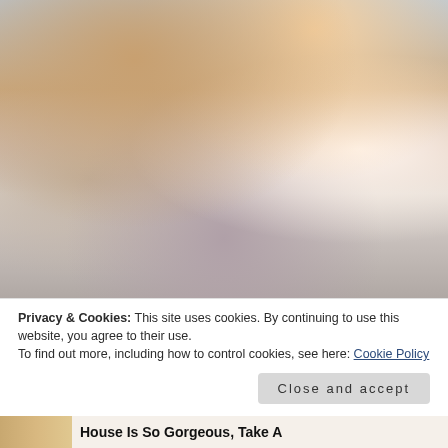[Figure (photo): Close-up photo of a person wearing a white tank top, with one hand pressed against their chest, related to breast self-examination.]
Privacy & Cookies: This site uses cookies. By continuing to use this website, you agree to their use.
To find out more, including how to control cookies, see here: Cookie Policy
Close and accept
House Is So Gorgeous, Take A